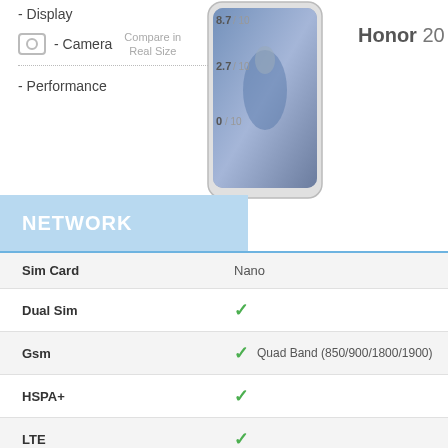- Display
- Camera
Compare in Real Size
- Performance
[Figure (photo): Honor 20 Pro smartphone rendered with scores 8.7/10, 2.7/10, 0/10 overlaid]
Honor 20 Pro
NETWORK
|  | Honor 20 Pro |
| --- | --- |
| Sim Card | Nano |
| Dual Sim | ✓ |
| Gsm | ✓ Quad Band (850/900/1800/1900) |
| HSPA+ | ✓ |
| LTE | ✓ |
| 5G | ✗ |
| Max. Download Speed | - |